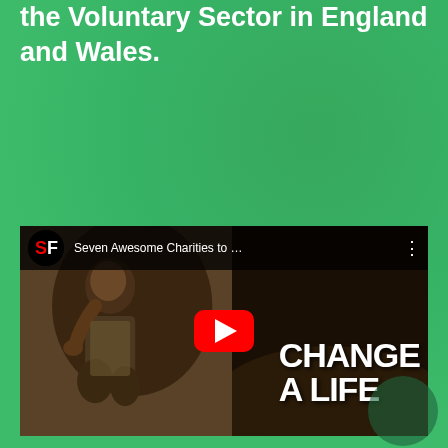the Voluntary Sector in England and Wales.
[Figure (other): Dark button with PDF icon and text 'DOWNLOAD PDF']
[Figure (screenshot): YouTube video thumbnail showing 'Seven Awesome Charities to...' with a child and text 'CHANGE A LIFE' on the right side. Red YouTube play button in center.]